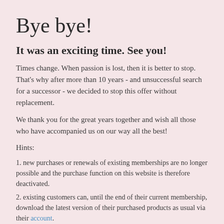Bye bye!
It was an exciting time. See you!
Times change. When passion is lost, then it is better to stop. That's why after more than 10 years - and unsuccessful search for a successor - we decided to stop this offer without replacement.
We thank you for the great years together and wish all those who have accompanied us on our way all the best!
Hints:
1. new purchases or renewals of existing memberships are no longer possible and the purchase function on this website is therefore deactivated.
2. existing customers can, until the end of their current membership, download the latest version of their purchased products as usual via their account.
3. existing customers can, until the end of their current membership,